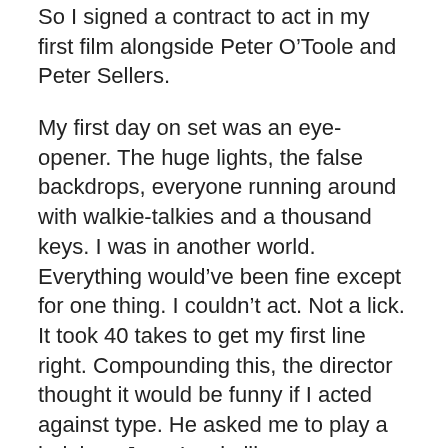So I signed a contract to act in my first film alongside Peter O'Toole and Peter Sellers.
My first day on set was an eye-opener. The huge lights, the false backdrops, everyone running around with walkie-talkies and a thousand keys. I was in another world. Everything would've been fine except for one thing. I couldn't act. Not a lick. It took 40 takes to get my first line right. Compounding this, the director thought it would be funny if I acted against type. He asked me to play a helpless Jerry Lewis-like messenger boy who was always getting pies in his face or slipping on banana peels. It was the most embarrassing experience of my life. But the movie was a hit. And the public wanted more.
I told Bernie if I was ever to act again, I had to do it my way and had to be the star. No more bumbling idiots. You don't pay to see Clint Eastwood in a musical. I was a superhero and my movies should